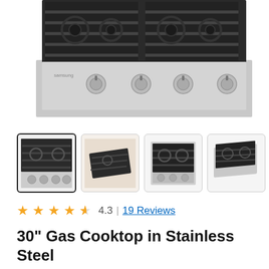[Figure (photo): Samsung 30-inch gas cooktop in stainless steel shown from above/front angle, with black cast iron grates and four burners with silver knobs along the front panel.]
[Figure (photo): Thumbnail 1 (selected): Front view of the gas cooktop showing grates and four knobs.]
[Figure (photo): Thumbnail 2: Close-up angled view of the cooktop burner area.]
[Figure (photo): Thumbnail 3: Top-down view of the gas cooktop grates.]
[Figure (photo): Thumbnail 4: Side/perspective view of the gas cooktop.]
4.3 | 19 Reviews
30" Gas Cooktop in Stainless Steel